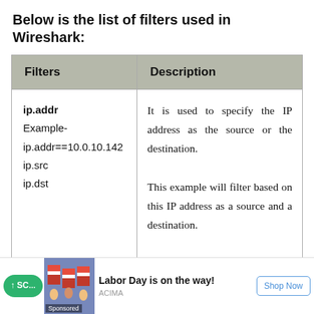Below is the list of filters used in Wireshark:
| Filters | Description |
| --- | --- |
| ip.addr
Example-
ip.addr==10.0.10.142
ip.src
ip.dst | It is used to specify the IP address as the source or the destination.
This example will filter based on this IP address as a source and a destination.
If we want for a source and a destination. |
[Figure (infographic): Advertisement banner: Labor Day is on the way! by ACIMA with Shop Now button and scroll-up button]